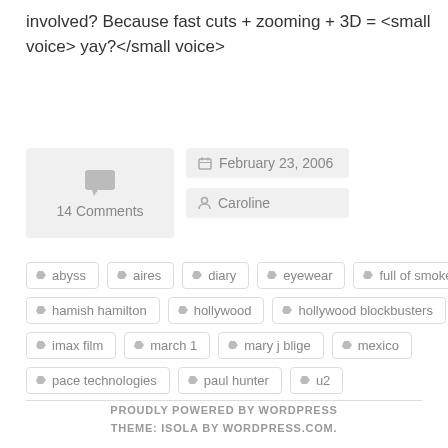involved? Because fast cuts + zooming + 3D = <small voice> yay?</small voice>
14 Comments
February 23, 2006
Caroline
abyss
aires
diary
eyewear
full of smoke
hamish hamilton
hollywood
hollywood blockbusters
imax film
march 1
mary j blige
mexico
pace technologies
paul hunter
u2
PROUDLY POWERED BY WORDPRESS
THEME: ISOLA BY WORDPRESS.COM.